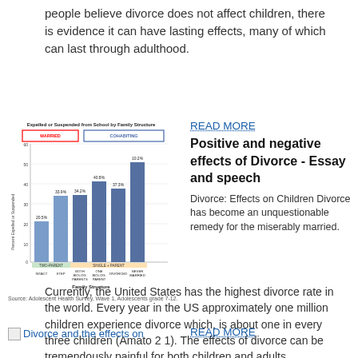people believe divorce does not affect children, there is evidence it can have lasting effects, many of which can last through adulthood.
[Figure (bar-chart): Expelled or Suspended from School by Family Structure]
Source: Adolescent Health Survey, Wave 1, Adolescents grade 7-12.
READ MORE
Positive and negative effects of Divorce - Essay and speech
Divorce: Effects on Children Divorce has become an unquestionable remedy for the miserably married. Currently, the United States has the highest divorce rate in the world. Every year in the US approximately one million children experience divorce which, is about one in every three children (Amato 2 1). The effects of divorce can be tremendously painful for both children and adults.
Divorce and the effects on
READ MORE